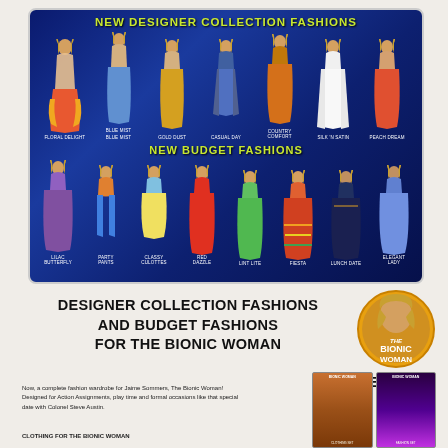[Figure (illustration): Advertisement for Bionic Woman fashion dolls. Top dark blue section shows 'NEW DESIGNER COLLECTION FASHIONS' with 7 dolls labeled: FLORAL DELIGHT, BLUE MIST, GOLD DUST, CASUAL DAY, COUNTRY COMFORT, SILK 'N SATIN, PEACH DREAM. Then 'NEW BUDGET FASHIONS' with 8 dolls labeled: LILAC BUTTERFLY, PARTY PANTS, CLASSY CULOTTES, RED DAZZLE, LINT LITE, FIESTA, LUNCH DATE, ELEGANT LADY.]
DESIGNER COLLECTION FASHIONS AND BUDGET FASHIONS FOR THE BIONIC WOMAN
[Figure (logo): The Bionic Woman circular badge/logo with portrait of woman and text 'THE BIONIC WOMAN']
NEW!
Now, a complete fashion wardrobe for Jaime Sommers, The Bionic Woman! Designed for Action Assignments, play time and formal occasions like that special date with Colonel Steve Austin.
CLOTHING FOR THE BIONIC WOMAN
[Figure (photo): Two small product photos showing Bionic Woman doll clothing packages]